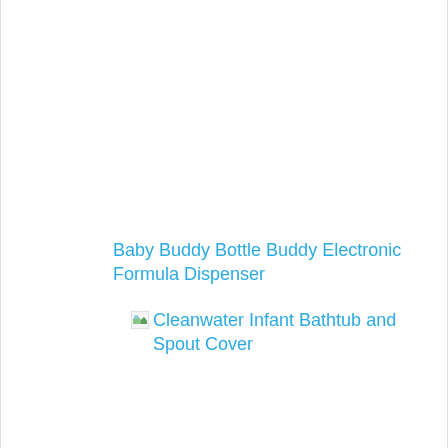Baby Buddy Bottle Buddy Electronic Formula Dispenser
Cleanwater Infant Bathtub and Spout Cover